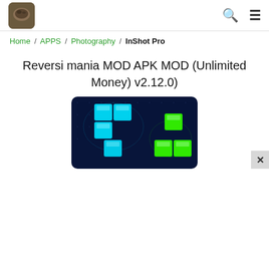Logo / Search / Menu navigation bar
Home / APPS / Photography / InShot Pro
Reversi mania MOD APK MOD (Unlimited Money) v2.12.0)
[Figure (screenshot): Game screenshot showing a block puzzle game with cyan/blue glowing tetris-like blocks on dark blue background and green glowing blocks on the right side]